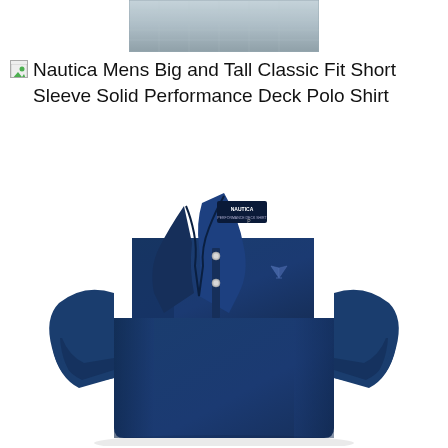[Figure (photo): Thumbnail strip showing a light blue/grey fabric shirt at the top of the page]
Nautica Mens Big and Tall Classic Fit Short Sleeve Solid Performance Deck Polo Shirt
[Figure (photo): Navy blue Nautica polo shirt with short sleeves, classic fit, with Nautica label visible at collar and small embroidered logo on chest. Two buttons visible at placket.]